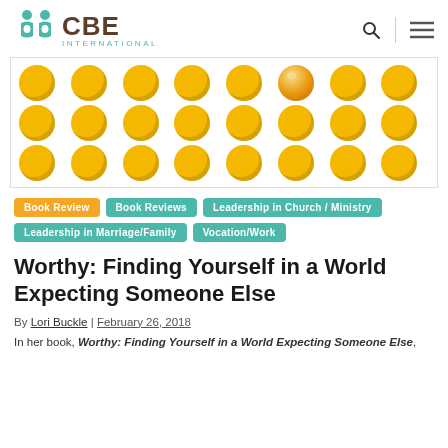CBE INTERNATIONAL
[Figure (illustration): Grid of 24 golden yellow circles arranged in 3 rows of 8, one circle in the top row (6th position) has a slightly different gold/brown shaded appearance resembling a face or coin.]
Book Review
Book Reviews
Leadership in Church / Ministry
Leadership in Marriage/Family
Vocation/Work
Worthy: Finding Yourself in a World Expecting Someone Else
By Lori Buckle | February 26, 2018
In her book, Worthy: Finding Yourself in a World Expecting Someone Else,